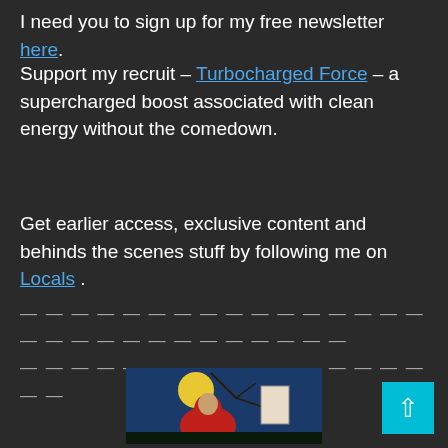I need you to sign up for my free newsletter here.
Support my recruit – Turbocharged Force – a supercharged boost associated with clean energy without the comedown.
Get earlier access, exclusive content and behinds the scenes stuff by following me on Locals .
— — — — — — — — — — — — — — — — — — — — — — — — — — — — — — — — — — — — —
[Figure (illustration): Japanese woodblock print style illustration showing a figure in a red robe under a yellow full moon with tree branches and a text placard, against a blue night sky.]